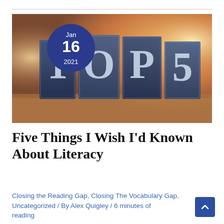[Figure (photo): Letterpress blocks spelling 'TOP 5' with a circular dark blue date badge in the upper-left showing 'Jan 16 2021', warm bokeh background lighting]
Five Things I Wish I'd Known About Literacy
Closing the Reading Gap, Closing The Vocabulary Gap, Uncategorized / By Alex Quigley / 6 minutes of reading